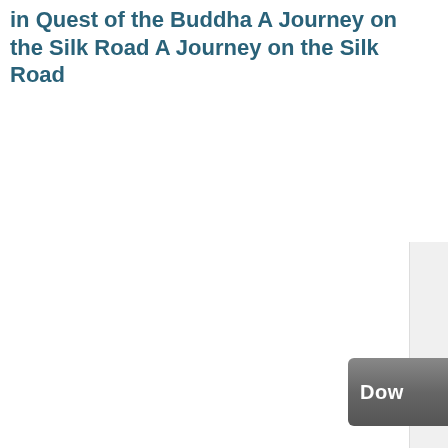in Quest of the Buddha A Journey on the Silk Road A Journey on the Silk Road
[Figure (screenshot): Partial sidebar panel visible on the right edge of the page, light gray background with vertical scroll affordance]
[Figure (screenshot): Partially visible dark gray Download button in the bottom-right corner with white bold text 'Dow']